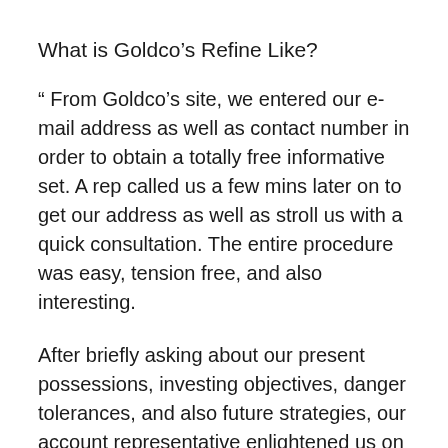What is Goldco’s Refine Like?
“ From Goldco’s site, we entered our e-mail address as well as contact number in order to obtain a totally free informative set. A rep called us a few mins later on to get our address as well as stroll us with a quick consultation. The entire procedure was easy, tension free, and also interesting.
After briefly asking about our present possessions, investing objectives, danger tolerances, and also future strategies, our account representative enlightened us on the fundamentals of gold and silver Individual retirement accounts.